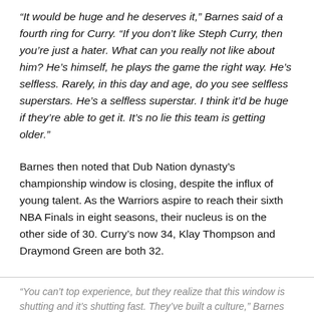“It would be huge and he deserves it,” Barnes said of a fourth ring for Curry. “If you don’t like Steph Curry, then you’re just a hater. What can you really not like about him? He’s himself, he plays the game the right way. He’s selfless. Rarely, in this day and age, do you see selfless superstars. He’s a selfless superstar. I think it’d be huge if they’re able to get it. It’s no lie this team is getting older.”
Barnes then noted that Dub Nation dynasty’s championship window is closing, despite the influx of young talent. As the Warriors aspire to reach their sixth NBA Finals in eight seasons, their nucleus is on the other side of 30. Curry’s now 34, Klay Thompson and Draymond Green are both 32.
“You can’t top experience, but they realize that this window is shutting and it’s shutting fast. They’ve built a culture,” Barnes